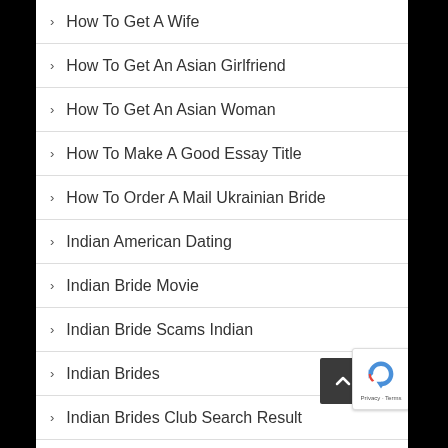How To Get A Wife
How To Get An Asian Girlfriend
How To Get An Asian Woman
How To Make A Good Essay Title
How To Order A Mail Ukrainian Bride
Indian American Dating
Indian Bride Movie
Indian Bride Scams Indian
Indian Brides
Indian Brides Club Search Result